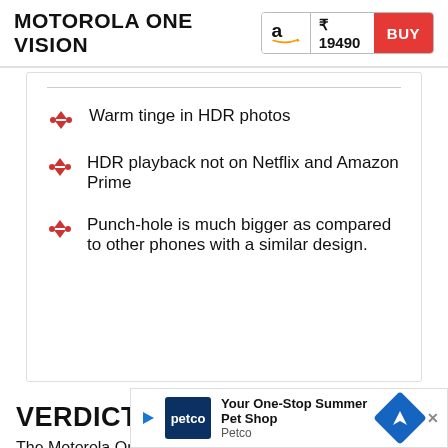MOTOROLA ONE VISION ₹ 19490 BUY
Warm tinge in HDR photos
HDR playback not on Netflix and Amazon Prime
Punch-hole is much bigger as compared to other phones with a similar design.
VERDICT
The Motorola One Vision attempts to solve the sweet-point of good imaging and a good display and for that, while the phone does things that we are used to, it's an interesting addition and
[Figure (screenshot): Advertisement overlay showing Petco 'Your One-Stop Summer Pet Shop' ad with Petco logo and navigation icon]
[Figure (screenshot): Product image overlay showing home appliances on dark background with red minus button and 3D cube icon]